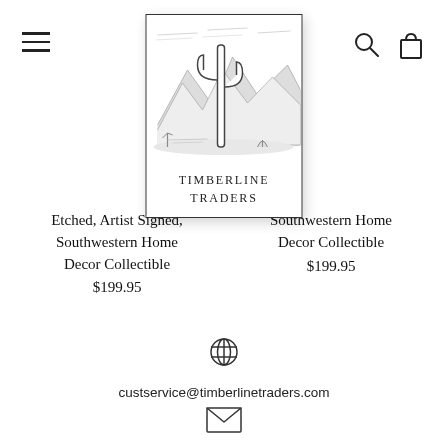[Figure (logo): Timberline Traders logo with cactus and mountain illustration, bordered box, text TIMBERLINE TRADERS]
Etched, Artist Signed, Southwestern Home Decor Collectible
$199.95
Southwestern Home Decor Collectible
$199.95
[Figure (other): Globe/web icon]
custservice@timberlinetraders.com
[Figure (other): Envelope/email icon]